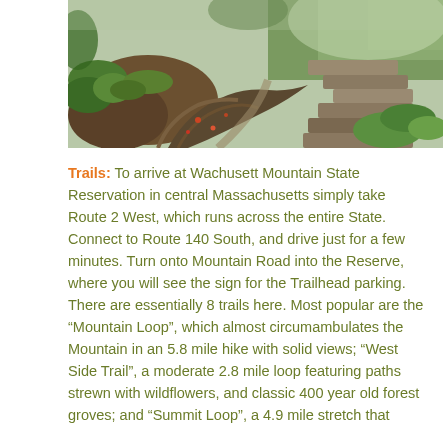[Figure (photo): A forest trail photo showing rocky steps, tree roots, moss-covered rocks, and lush green ferns and plants at Wachusett Mountain State Reservation.]
Trails:  To arrive at Wachusett Mountain State Reservation in central Massachusetts simply take Route 2 West, which runs across the entire State. Connect to Route 140 South, and drive just for a few minutes. Turn onto Mountain Road into the Reserve, where you will see the sign for the Trailhead parking. There are essentially 8 trails here. Most popular are the “Mountain Loop”, which almost circumambulates the Mountain in an 5.8 mile hike with solid views; “West Side Trail”, a moderate 2.8 mile loop featuring paths strewn with wildflowers, and classic 400 year old forest groves; and “Summit Loop”, a 4.9 mile stretch that